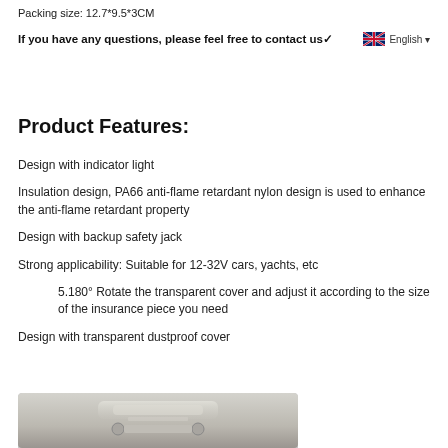Packing size: 12.7*9.5*3CM
If you have any questions, please feel free to contact us✓
Product Features:
Design with indicator light
Insulation design, PA66 anti-flame retardant nylon design is used to enhance the anti-flame retardant property
Design with backup safety jack
Strong applicability: Suitable for 12-32V cars, yachts, etc
5.180° Rotate the transparent cover and adjust it according to the size of the insurance piece you need
Design with transparent dustproof cover
[Figure (photo): Photo of a product (fuse holder or similar automotive electrical component) shown at the bottom of the page]